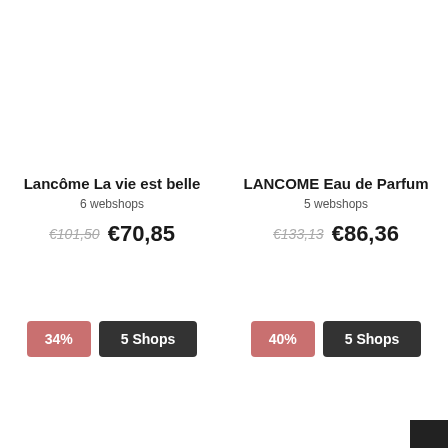Lancôme La vie est belle
6 webshops
€101,50  €70,85
34%  5 Shops
LANCOME Eau de Parfum
5 webshops
€133,13  €86,36
40%  5 Shops